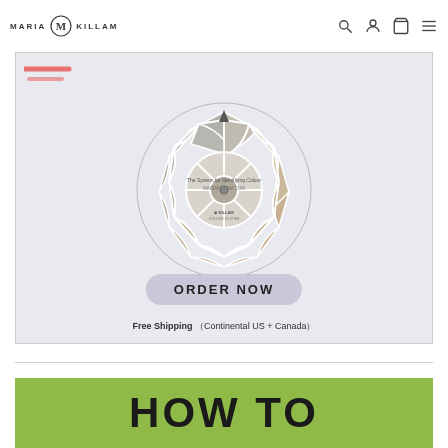MARIA KILLAM
[Figure (other): Maria Killam color wheel product showing circular color swatches with ORDER NOW button and Free Shipping (Continental US + Canada) text]
[Figure (other): HOW TO text on green background, partial view of a book or banner]